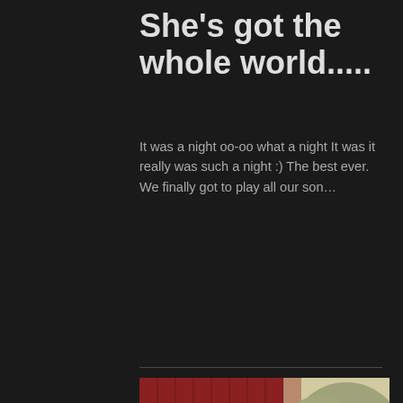She's got the whole world.....
It was a night oo-oo what a night It was it really was such a night :) The best ever. We finally got to play all our son...
[Figure (photo): Three people posing together outdoors in front of a red barn-style building. Left: a man with glasses and a dark cap wearing a black t-shirt with a lanyard. Center: a tall man in a grey blazer and black cowboy hat. Right: a woman with long auburn hair wearing a black top.]
[Figure (photo): Outdoor evening scene with trees silhouetted against a cloudy sky, warm string lights visible at right.]